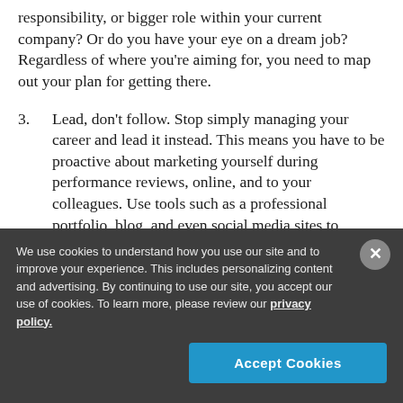responsibility, or bigger role within your current company? Or do you have your eye on a dream job? Regardless of where you're aiming for, you need to map out your plan for getting there.
3. Lead, don't follow. Stop simply managing your career and lead it instead. This means you have to be proactive about marketing yourself during performance reviews, online, and to your colleagues. Use tools such as a professional portfolio, blog, and even social media sites to promote yourself professionally
We use cookies to understand how you use our site and to improve your experience. This includes personalizing content and advertising. By continuing to use our site, you accept our use of cookies. To learn more, please review our privacy policy.